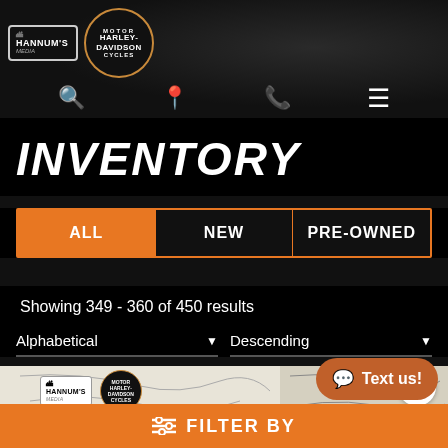[Figure (logo): Hannum's Media and Harley-Davidson Motor Cycles logos in dark header bar]
[Figure (screenshot): Navigation icons: search, location pin, phone, hamburger menu]
INVENTORY
ALL | NEW | PRE-OWNED tab buttons, ALL selected
Showing 349 - 360 of 450 results
Alphabetical   Descending (sort dropdowns)
[Figure (screenshot): Motorcycle inventory card preview showing Hannum's and Harley-Davidson logos on white background with heart/favorite button]
Text us!
FILTER BY